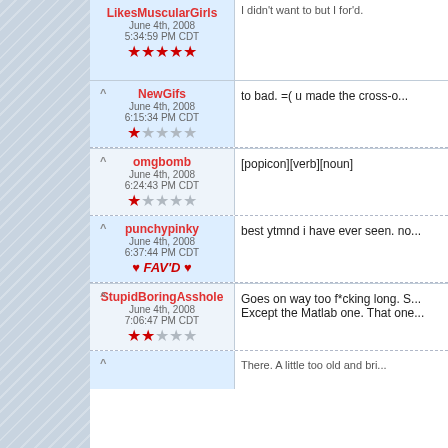LikesMuscularGirls — June 4th, 2008 5:34:59 PM CDT — 5 stars — I didn't want to but I for'd.
NewGifs — June 4th, 2008 6:15:34 PM CDT — 1 star — to bad. =( u made the cross-o...
omgbomb — June 4th, 2008 6:24:43 PM CDT — 1 star — [popicon][verb][noun]
punchypinky — June 4th, 2008 6:37:44 PM CDT — FAV'D — best ytmnd i have ever seen. no...
StupidBoringAsshole — June 4th, 2008 7:06:47 PM CDT — 2 stars — Goes on way too f*cking long. S... Except the Matlab one. That one...
There. A little too old and bri...